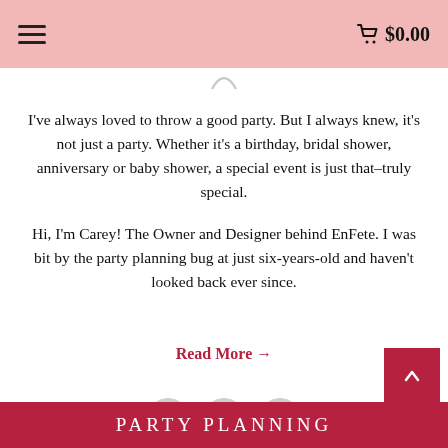☰  $0.00
I've always loved to throw a good party. But I always knew, it's not just a party. Whether it's a birthday, bridal shower, anniversary or baby shower, a special event is just that–truly special.
Hi, I'm Carey! The Owner and Designer behind EnFete. I was bit by the party planning bug at just six-years-old and haven't looked back ever since.
Read More →
[Figure (illustration): Three social media icons: Facebook, Instagram, Pinterest — each in a light grey circle]
Party Planning